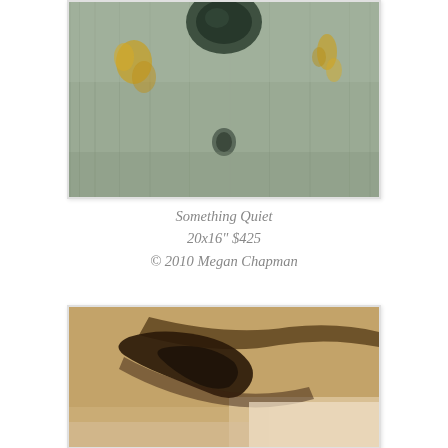[Figure (photo): Abstract painting with muted green-grey tones, featuring a dark circular form at top center and yellow-ochre splashes on a weathered textured background]
Something Quiet
20x16" $425
© 2010 Megan Chapman
[Figure (photo): Abstract painting with warm ochre and tan background, featuring a dark brown organic silhouette form suggesting a reclining figure or shadow]